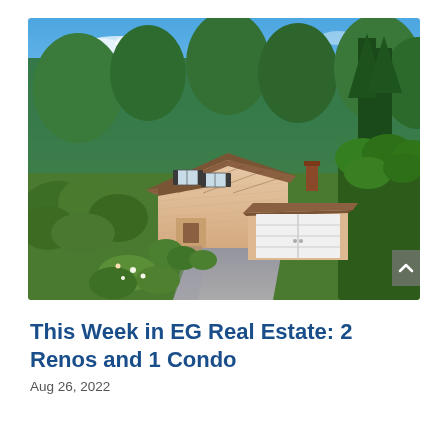[Figure (photo): Aerial/elevated view of a two-story residential house with tan/pink siding, brown shingle roof, white two-car garage door, surrounded by lush green trees and shrubs, with a driveway leading to the garage. Clear blue sky with a few clouds in the background.]
This Week in EG Real Estate: 2 Renos and 1 Condo
Aug 26, 2022